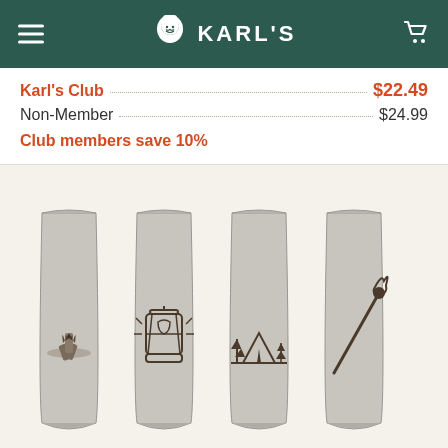KARL'S
Karl's Club $22.49
Non-Member $24.99
Club members save 10%
[Figure (photo): Four stainless steel camping cups each engraved with a different outdoor icon: campfire, lantern, tent with trees, and a match/torch]